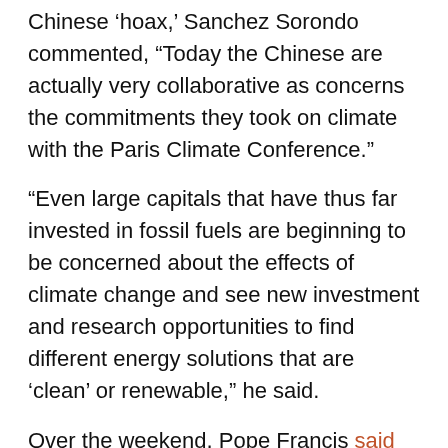Chinese 'hoax,' Sanchez Sorondo commented, 'Today the Chinese are actually very collaborative as concerns the commitments they took on climate with the Paris Climate Conference.'
"Even large capitals that have thus far invested in fossil fuels are beginning to be concerned about the effects of climate change and see new investment and research opportunities to find different energy solutions that are 'clean' or renewable," he said.
Over the weekend, Pope Francis said he would be "sincere" with Trump over their diametrically opposed views on subjects such as immigration and climate change.
"Even if one thinks differently, we have to be very sincere about what each one thinks," Francis said. "Topics will emerge in our conversations. I will say what I think and he